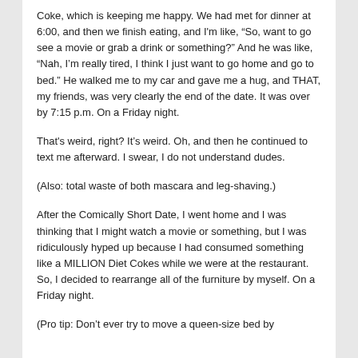Coke, which is keeping me happy. We had met for dinner at 6:00, and then we finish eating, and I'm like, “So, want to go see a movie or grab a drink or something?” And he was like, “Nah, I’m really tired, I think I just want to go home and go to bed.” He walked me to my car and gave me a hug, and THAT, my friends, was very clearly the end of the date. It was over by 7:15 p.m. On a Friday night.
That's weird, right? It’s weird. Oh, and then he continued to text me afterward. I swear, I do not understand dudes.
(Also: total waste of both mascara and leg-shaving.)
After the Comically Short Date, I went home and I was thinking that I might watch a movie or something, but I was ridiculously hyped up because I had consumed something like a MILLION Diet Cokes while we were at the restaurant. So, I decided to rearrange all of the furniture by myself. On a Friday night.
(Pro tip: Don’t ever try to move a queen-size bed by